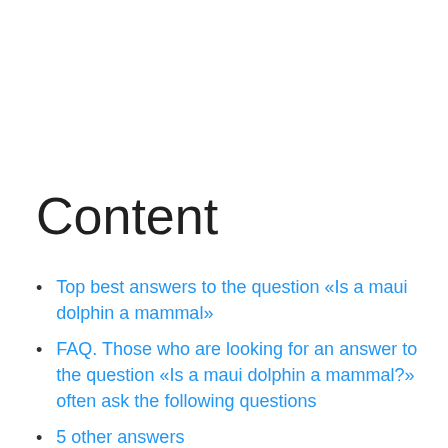Content
Top best answers to the question «Is a maui dolphin a mammal»
FAQ. Those who are looking for an answer to the question «Is a maui dolphin a mammal?» often ask the following questions
5 other answers